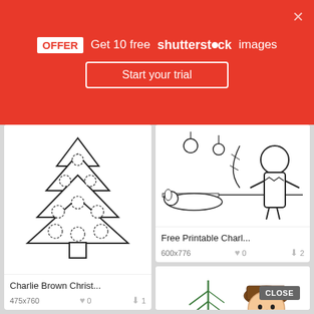OFFER Get 10 free shutterstock images
Start your trial
[Figure (illustration): Charlie Brown Christmas tree coloring page outline drawing with dashed circle ornaments]
Charlie Brown Christ...
475x760   ♥ 0   ⬇ 1
[Figure (illustration): Charlie Brown and Snoopy Christmas coloring page with decorations]
Free Printable Charl...
600x776   ♥ 0   ⬇ 2
[Figure (illustration): Charlie Brown character in red shirt and brown hat holding a small Christmas tree with red ornament, colored cartoon image]